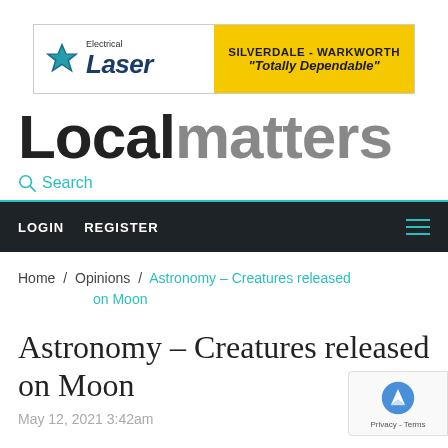[Figure (logo): Laser Electrical ad banner with star logo, brand name 'Laser Electrical', and yellow panel reading 'SILVERDALE - WARKWORTH Totally Dependable']
Localmatters
Search
LOGIN   REGISTER
Home / Opinions / Astronomy – Creatures released on Moon
Astronomy – Creatures released on Moon
May 12, 2021 3:42am